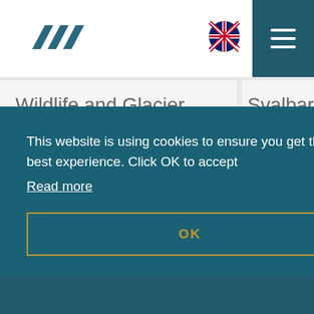[Figure (logo): Teal angular arrow/wave logo marks]
[Figure (illustration): UK flag circle icon]
[Figure (illustration): Hamburger menu button with three horizontal lines on teal background]
Wildlife and Glacier Cruise
Sail silently through magnificent landscapes, gaze at the glacier and if you are lucky we will encounter some of the unique wildlife.
Svalbard Cruise
Arctic Fjord
This website is using cookies to ensure you get the best experience. Click OK to accept
Read more
OK